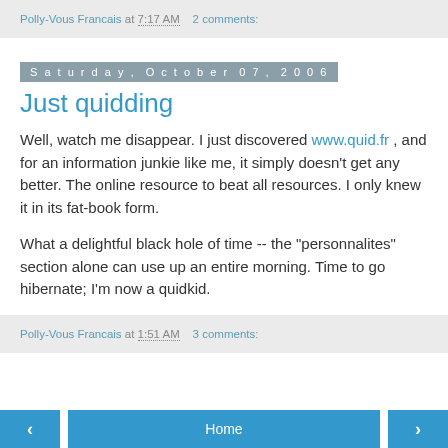Polly-Vous Francais at 7:17 AM   2 comments:
Saturday, October 07, 2006
Just quidding
Well, watch me disappear. I just discovered www.quid.fr , and for an information junkie like me, it simply doesn't get any better. The online resource to beat all resources. I only knew it in its fat-book form.
What a delightful black hole of time -- the "personnalites" section alone can use up an entire morning. Time to go hibernate; I'm now a quidkid.
Polly-Vous Francais at 1:51 AM   3 comments:
Home